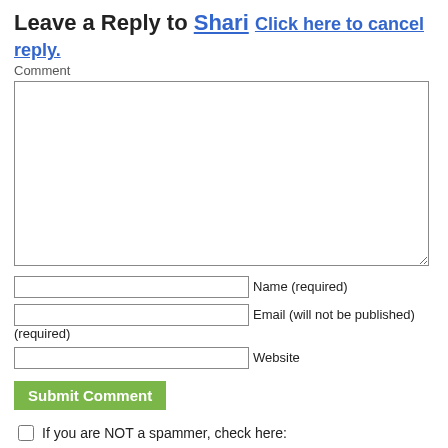Leave a Reply to Shari Click here to cancel reply.
Comment
Name (required)
Email (will not be published) (required)
Website
Submit Comment
If you are NOT a spammer, check here:
This site uses Akismet to reduce spam. Learn how your comment data is processed.